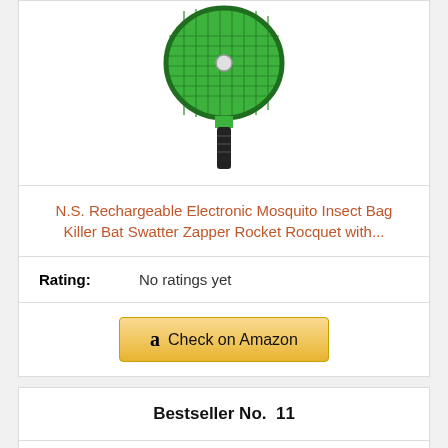[Figure (photo): Green electric mosquito swatter/zapper racket with black handle]
N.S. Rechargeable Electronic Mosquito Insect Bag Killer Bat Swatter Zapper Rocket Rocquet with...
Rating: No ratings yet
Check on Amazon
Bestseller No. 11
[Figure (photo): The Batman movie poster/cover image with red text on dark background]